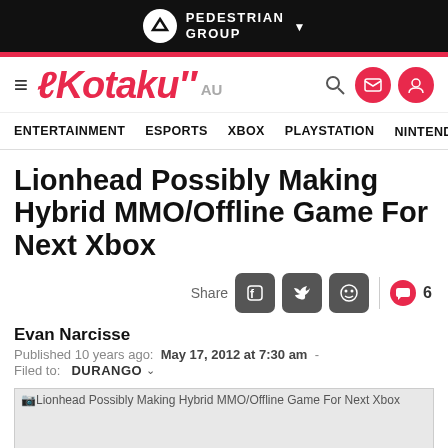PEDESTRIAN GROUP
Kotaku AU — ENTERTAINMENT  ESPORTS  XBOX  PLAYSTATION  NINTENDO
Lionhead Possibly Making Hybrid MMO/Offline Game For Next Xbox
Share  6
Evan Narcisse
Published 10 years ago:  May 17, 2012 at 7:30 am  -  Filed to:  DURANGO
[Figure (photo): Placeholder image for 'Lionhead Possibly Making Hybrid MMO/Offline Game For Next Xbox' article hero image, shown as broken image icon with alt text]